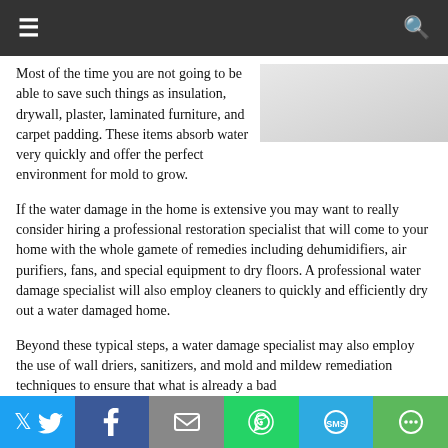Navigation bar with hamburger menu and search icon
[Figure (photo): Partially visible photo of what appears to be a water-damaged surface or flooring, shown in the upper right corner]
Most of the time you are not going to be able to save such things as insulation, drywall, plaster, laminated furniture, and carpet padding. These items absorb water very quickly and offer the perfect environment for mold to grow.
If the water damage in the home is extensive you may want to really consider hiring a professional restoration specialist that will come to your home with the whole gamete of remedies including dehumidifiers, air purifiers, fans, and special equipment to dry floors. A professional water damage specialist will also employ cleaners to quickly and efficiently dry out a water damaged home.
Beyond these typical steps, a water damage specialist may also employ the use of wall driers, sanitizers, and mold and mildew remediation techniques to ensure that what is already a bad
Share bar with Twitter, Facebook, Email, WhatsApp, SMS, and More buttons